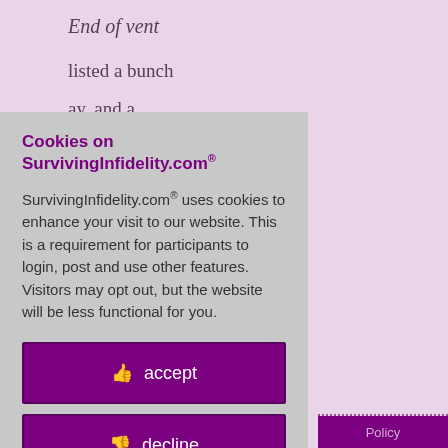End of vent
listed a bunch
ay, and a
or decent
g my bike back
like music,
rchestral
n really looking
home, but the
:37 AM, March
[Figure (screenshot): Cookie consent modal overlay with title 'Cookies on SurvivingInfidelity.com®', body text about cookie usage, and three buttons: accept, decline, about cookies]
Policy